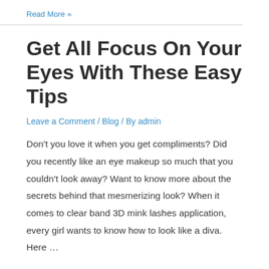Read More »
Get All Focus On Your Eyes With These Easy Tips
Leave a Comment / Blog / By admin
Don't you love it when you get compliments? Did you recently like an eye makeup so much that you couldn't look away? Want to know more about the secrets behind that mesmerizing look? When it comes to clear band 3D mink lashes application, every girl wants to know how to look like a diva. Here …
Read More »
The Things That People